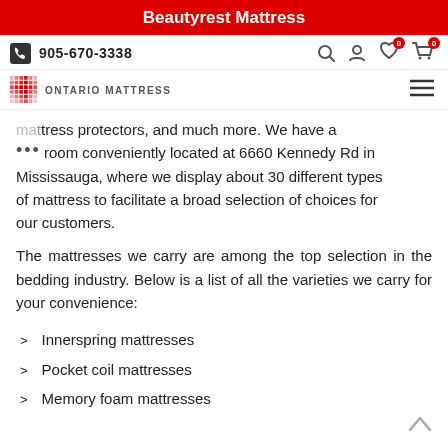Beautyrest Mattress
905-670-3338
ONTARIO MATTRESS
mattress protectors, and much more. We have a showroom conveniently located at 6660 Kennedy Rd in Mississauga, where we display about 30 different types of mattress to facilitate a broad selection of choices for our customers.
The mattresses we carry are among the top selection in the bedding industry. Below is a list of all the varieties we carry for your convenience:
Innerspring mattresses
Pocket coil mattresses
Memory foam mattresses